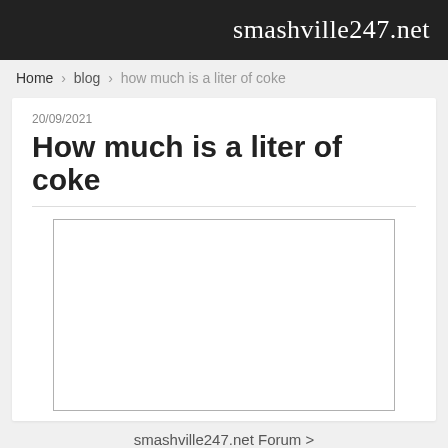smashville247.net
Home › blog › how much is a liter of coke
20/09/2021
How much is a liter of coke
[Figure (other): Advertisement or embedded content box, blank white rectangle with grey border]
smashville247.net Forum >